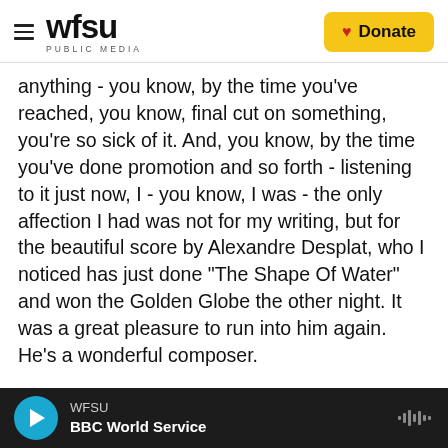WFSU PUBLIC MEDIA | Donate
anything - you know, by the time you've reached, you know, final cut on something, you're so sick of it. And, you know, by the time you've done promotion and so forth - listening to it just now, I - you know, I was - the only affection I had was not for my writing, but for the beautiful score by Alexandre Desplat, who I noticed has just done "The Shape Of Water" and won the Golden Globe the other night. It was a great pleasure to run into him again. He's a wonderful composer.
But I tend not to look back on it, but it's interesting that I wrote the older character, the older versions,
WFSU | BBC World Service